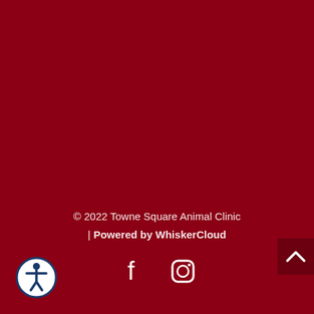© 2022 Towne Square Animal Clinic | Powered by WhiskerCloud
[Figure (illustration): Facebook and Instagram social media icons in white]
[Figure (illustration): Accessibility icon - person in circle with dark blue border]
[Figure (illustration): Scroll to top button - dark red box with white chevron/caret pointing up]